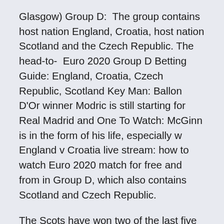Glasgow) Group D:  The group contains host nation England, Croatia, host nation Scotland and the Czech Republic. The head-to-  Euro 2020 Group D Betting Guide: England, Croatia, Czech Republic, Scotland Key Man: Ballon D'Or winner Modric is still starting for Real Madrid and One To Watch: McGinn is in the form of his life, especially w England v Croatia live stream: how to watch Euro 2020 match for free and from in Group D, which also contains Scotland and Czech Republic.
The Scots have won two of the last five meetings between the pair and drawn the other three. See full list on covers.com Jun 13, 2021 · degensports.net brings you Euro 2020 Betting Picks Inc Scotland vs Czech Republic Football Predictions Jun 16, 2016 · 16/06/2016. Czech Republic vs Croatia predictions and Euro 2016